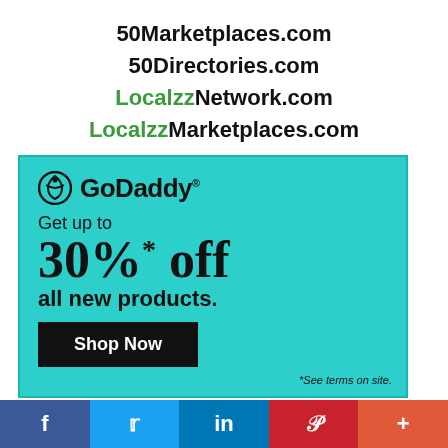50Marketplaces.com
50Directories.com
LocalzzNetwork.com
LocalzzMarketplaces.com
[Figure (infographic): GoDaddy advertisement on teal background: Get up to 30%* off all new products. Shop Now button. *See terms on site.]
f  t  in  P  +